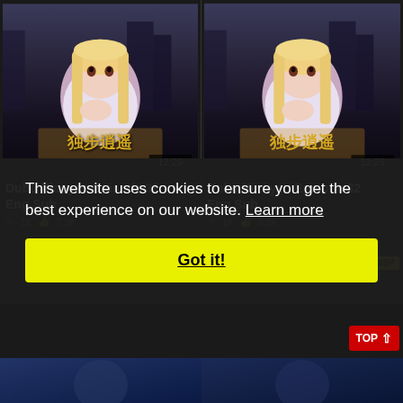[Figure (screenshot): Thumbnail for Dubu Xiaoyao Episode 31 - animated character with blonde hair, duration badge 12:29]
[Figure (screenshot): Thumbnail for Dubu Xiaoyao Episode 32 - animated character with blonde hair, duration badge 12:29]
Dubu Xiaoyao Episode 31 Eng Sub
Dubu Xiaoyao Episode 32 Eng Sub
This website uses cookies to ensure you get the best experience on our website. Learn more
Got it!
[Figure (screenshot): HD1080P badge visible, partial thumbnail below]
[Figure (screenshot): TOP button with arrow, bottom preview thumbnails]